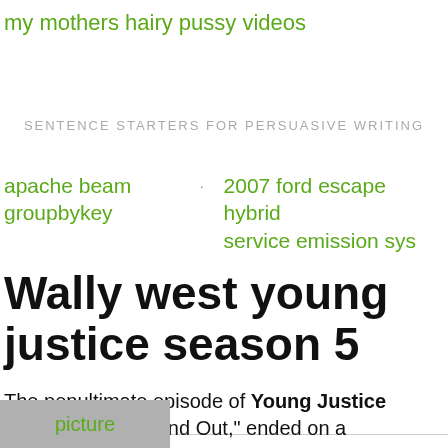my mothers hairy pussy videos
SENTENCE STARTERS FOR PERSUASIVE WRITING
apache beam groupbykey
2007 ford escape hybrid service emission sys
Wally west young justice season 5
The penultimate episode of Young Justice season 4, "Over and Out," ended on a
[Figure (other): Grey button labeled 'picture' in green text]